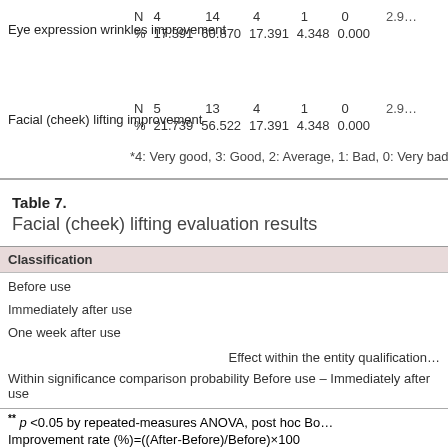|  | N/% | 4 | 14 | 4 | 1 | 0 | Mean |
| --- | --- | --- | --- | --- | --- | --- | --- |
| Eye expression wrinkles improvement | N | 4 | 14 | 4 | 1 | 0 | 2.9 |
| Eye expression wrinkles improvement | % | 17.391 | 60.870 | 17.391 | 4.348 | 0.000 |  |
| Facial (cheek) lifting improvement | N | 5 | 13 | 4 | 1 | 0 | 2.9 |
| Facial (cheek) lifting improvement | % | 21.739 | 56.522 | 17.391 | 4.348 | 0.000 |  |
*4: Very good, 3: Good, 2: Average, 1: Bad, 0: Very bad
Table 7.
Facial (cheek) lifting evaluation results
| Classification |
| --- |
| Before use |
| Immediately after use |
| One week after use |
| Effect within the entity qualification |
| Within significance comparison probability Before use – Immediately after use |
| Before use – one week after use |
** p <0.05 by repeated-measures ANOVA, post hoc Bonferroni
Improvement rate (%)=((After-Before)/Before)×100